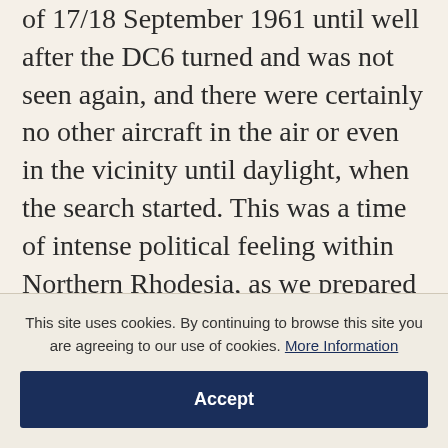of 17/18 September 1961 until well after the DC6 turned and was not seen again, and there were certainly no other aircraft in the air or even in the vicinity until daylight, when the search started. This was a time of intense political feeling within Northern Rhodesia, as we prepared for various changes leading ultimately to the break-up of the Central African Federation. Any evidence given by freedom fighters that put the Federal Authority in a bad light was valued not for its veracity but for the publicity it would achieve, whether it
This site uses cookies. By continuing to browse this site you are agreeing to our use of cookies. More Information
Accept